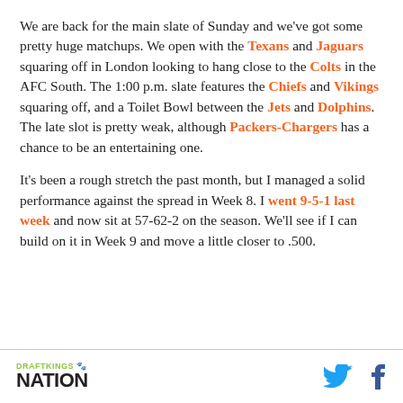We are back for the main slate of Sunday and we've got some pretty huge matchups. We open with the Texans and Jaguars squaring off in London looking to hang close to the Colts in the AFC South. The 1:00 p.m. slate features the Chiefs and Vikings squaring off, and a Toilet Bowl between the Jets and Dolphins. The late slot is pretty weak, although Packers-Chargers has a chance to be an entertaining one.
It's been a rough stretch the past month, but I managed a solid performance against the spread in Week 8. I went 9-5-1 last week and now sit at 57-62-2 on the season. We'll see if I can build on it in Week 9 and move a little closer to .500.
DRAFTKINGS NATION